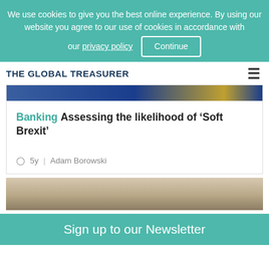We use cookies to give you the best online experience. By using our website you agree to our use of cookies in accordance with our privacy policy  Continue
THE GLOBAL TREASURER
[Figure (photo): Partial photograph of a person in front of a European Union flag with gold stars on blue background]
Banking Assessing the likelihood of ‘Soft Brexit’
5y  |  Adam Borowski
[Figure (photo): Partial photograph of a person's face, cropped at top of frame]
Sign up to our Newsletter